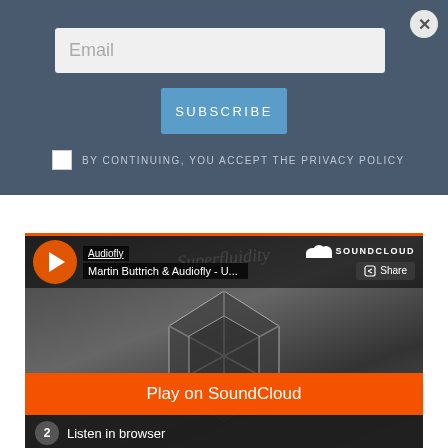Email
Subscribe
BY CONTINUING, YOU ACCEPT THE PRIVACY POLICY
[Figure (screenshot): SoundCloud embedded player showing Audiofly - Martin Buttrich & Audiofly track, with play button, share button, album art (geometric dark illustration), Play on SoundCloud orange button, and Listen in browser bar]
Play on SoundCloud
Listen in browser